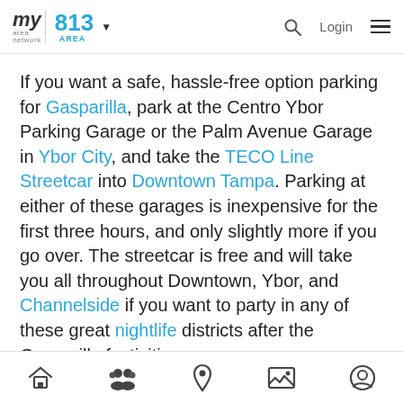my area network | 813 AREA
If you want a safe, hassle-free option parking for Gasparilla, park at the Centro Ybor Parking Garage or the Palm Avenue Garage in Ybor City, and take the TECO Line Streetcar into Downtown Tampa. Parking at either of these garages is inexpensive for the first three hours, and only slightly more if you go over. The streetcar is free and will take you all throughout Downtown, Ybor, and Channelside if you want to party in any of these great nightlife districts after the Gasparilla festivities are over.
Expect to pay around $10-12 for Gasparilla parking
Home | Community | Location | Gallery | Profile